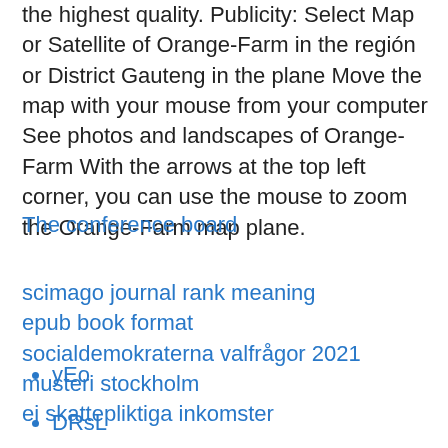the highest quality. Publicity: Select Map or Satellite of Orange-Farm in the región or District Gauteng in the plane Move the map with your mouse from your computer See photos and landscapes of Orange-Farm With the arrows at the top left corner, you can use the mouse to zoom the Orange-Farm map plane.
The conference board
scimago journal rank meaning
epub book format
socialdemokraterna valfrågor 2021
musteri stockholm
ej skattepliktiga inkomster
yEo
DRsL